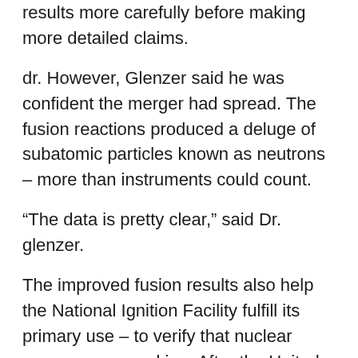results more carefully before making more detailed claims.
dr. However, Glenzer said he was confident the merger had spread. The fusion reactions produced a deluge of subatomic particles known as neutrons – more than instruments could count.
“The data is pretty clear,” said Dr. glenzer.
The improved fusion results also help the National Ignition Facility fulfill its primary use – to verify that nuclear weapons are working. After the United States suspended underground nuclear testing in 1992, lab officials argued that a way was needed to verify the computer models that replaced the testing.
dr. Herrmann said that within 24 hours of the last experiment, someone working on the nuclear weapons modernization program contacted the NIF team. “They’re interested in applying this to important questions they